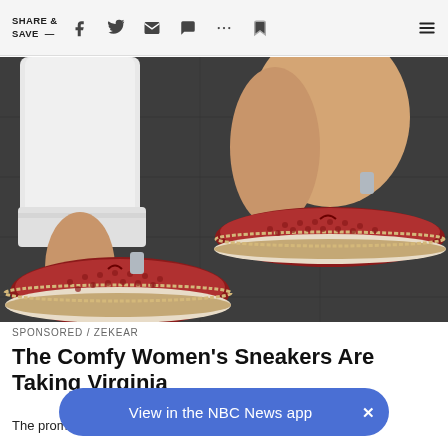SHARE & SAVE —
[Figure (photo): Close-up photo of a woman's feet wearing red perforated suede espadrille sneakers with white rope-trimmed soles, worn with white cuffed jeans, standing on a dark pavement surface.]
SPONSORED / ZEKEAR
The Comfy Women's Sneakers Are Taking Virginia
The promotion ends as soon as the reduced models are sold
View in the NBC News app